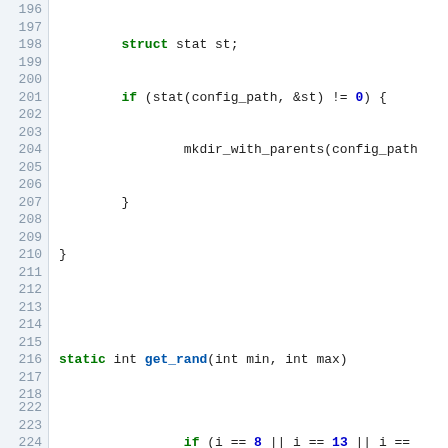[Figure (screenshot): Source code listing in C, lines 196-226, showing functions get_rand and userpref_generate_host_id with syntax highlighting: keywords in green bold, function names in blue bold, numeric literals in dark blue bold, string literals in red, comments in gray.]